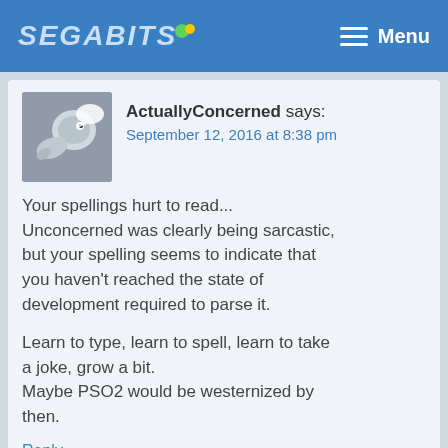SEGABITS — Menu
ActuallyConcerned says:
September 12, 2016 at 8:38 pm
Your spellings hurt to read...
Unconcerned was clearly being sarcastic, but your spelling seems to indicate that you haven't reached the state of development required to parse it.

Learn to type, learn to spell, learn to take a joke, grow a bit.
Maybe PSO2 would be westernized by then.
Reply
Lol says:
September 1, 2015 at 1:17 am